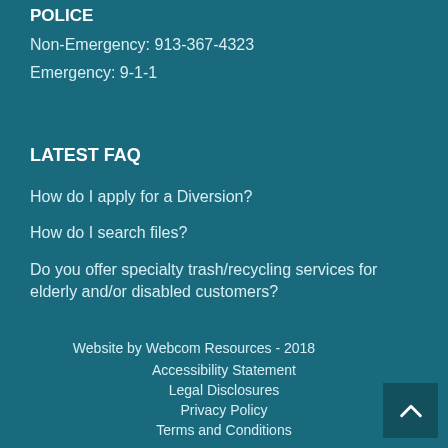POLICE
Non-Emergency: 913-367-4323
Emergency: 9-1-1
LATEST FAQ
How do I apply for a Diversion?
How do I search files?
Do you offer specialty trash/recycling services for elderly and/or disabled customers?
Website by Webcom Resources - 2018
Accessibility Statement
Legal Disclosures
Privacy Policy
Terms and Conditions